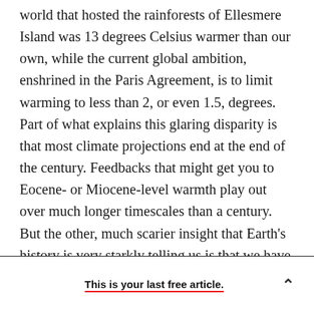world that hosted the rainforests of Ellesmere Island was 13 degrees Celsius warmer than our own, while the current global ambition, enshrined in the Paris Agreement, is to limit warming to less than 2, or even 1.5, degrees. Part of what explains this glaring disparity is that most climate projections end at the end of the century. Feedbacks that might get you to Eocene- or Miocene-level warmth play out over much longer timescales than a century. But the other, much scarier insight that Earth's history is very starkly telling us is that we have been missing something crucial in the models we use to predict the future.
This is your last free article.